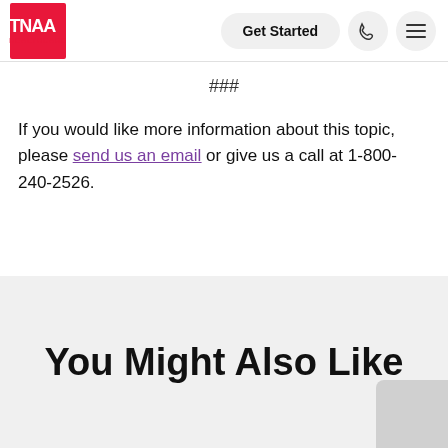[Figure (logo): TNAA Healthcare logo — red square with white TNAA text and HEALTHCARE subtitle below]
###
If you would like more information about this topic, please send us an email or give us a call at 1-800-240-2526.
You Might Also Like